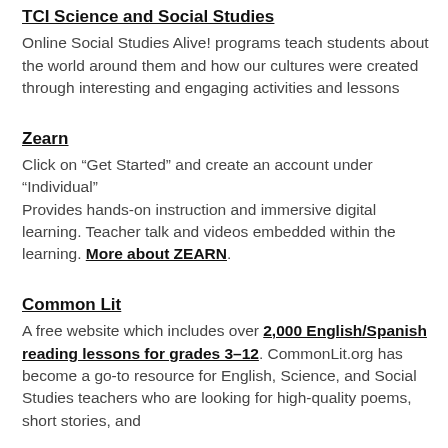TCI Science and Social Studies
Online Social Studies Alive! programs teach students about the world around them and how our cultures were created through interesting and engaging activities and lessons
Zearn
Click on “Get Started” and create an account under “Individual”
Provides hands-on instruction and immersive digital learning. Teacher talk and videos embedded within the learning. More about ZEARN.
Common Lit
A free website which includes over 2,000 English/Spanish reading lessons for grades 3–12. CommonLit.org has become a go-to resource for English, Science, and Social Studies teachers who are looking for high-quality poems, short stories, and